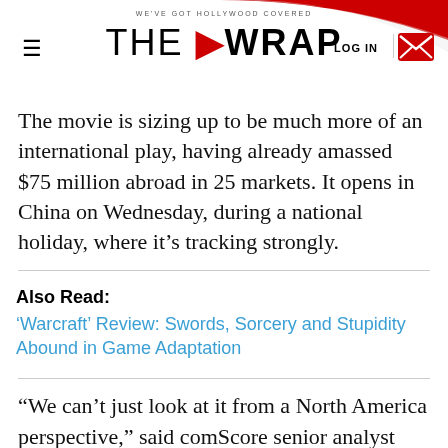WE'VE GOT HOLLYWOOD COVERED — THE WRAP
The movie is sizing up to be much more of an international play, having already amassed $75 million abroad in 25 markets. It opens in China on Wednesday, during a national holiday, where it's tracking strongly.
Also Read: 'Warcraft' Review: Swords, Sorcery and Stupidity Abound in Game Adaptation
“We can’t just look at it from a North America perspective,” said comScore senior analyst Paul Dergarabedian. “It’s a fairly new phenomenon that